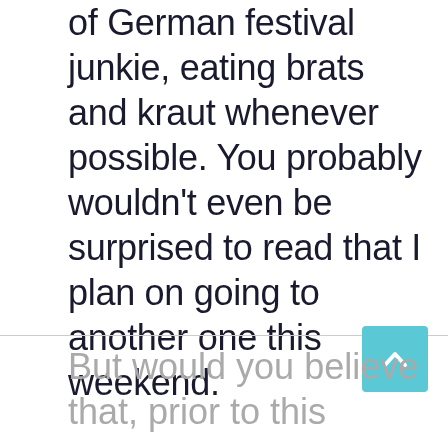of German festival junkie, eating brats and kraut whenever possible. You probably wouldn't even be surprised to read that I plan on going to another one this weekend.
[Figure (other): Light blue scroll-to-top button with an upward chevron arrow icon]
But would you believe that, prior to this